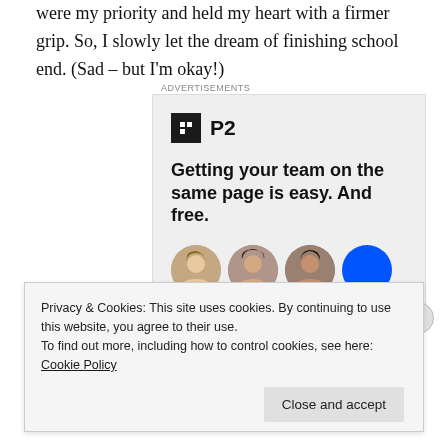were my priority and held my heart with a firmer grip. So, I slowly let the dream of finishing school end. (Sad – but I'm okay!)
[Figure (screenshot): Advertisement for P2 product. Shows the P2 logo (dark square with cutout icon), text reading 'Getting your team on the same page is easy. And free.' followed by circular avatar photos of team members.]
Privacy & Cookies: This site uses cookies. By continuing to use this website, you agree to their use.
To find out more, including how to control cookies, see here: Cookie Policy
Close and accept